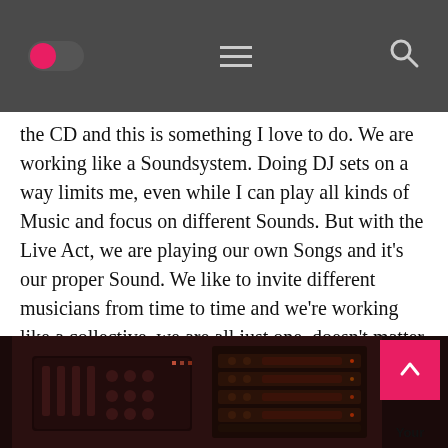[Navigation bar with toggle switch, hamburger menu, and search icon]
the CD and this is something I love to do. We are working like a Soundsystem. Doing DJ sets on a way limits me, even while I can play all kinds of Music and focus on different Sounds. But with the Live Act, we are playing our own Songs and it's our proper Sound. We like to invite different musicians from time to time and we’re working like a collective, we are all just one, doesn’t matter who is on stage and at the end the most important thing is the music and the people moved by that music.
[Figure (photo): Photo of DJ/music equipment, mixer or sound board, dark toned vintage style image]
Your